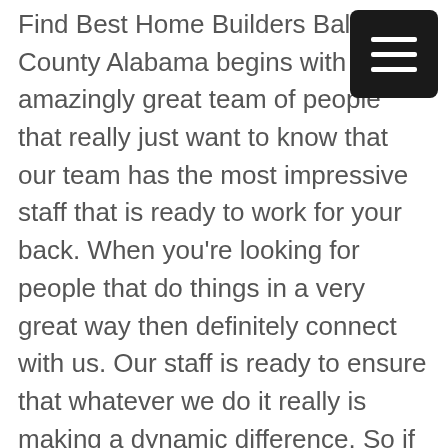Find Best Home Builders Baldwin County Alabama begins with an amazingly great team of people that really just want to know that our team has the most impressive staff that is ready to work for your back. When you're looking for people that do things in a very great way then definitely connect with us. Our staff is ready to ensure that whatever we do it really is making a dynamic difference. So if you're looking for people to make incredible great things happen in a very good way then definitely come up with us. What you know the getting great services is important in making sure that you are getting honest results is even more important severe looking for people that do things in a very way than sapling come up
[Figure (other): Hamburger menu icon — three horizontal white lines on a dark/black rounded rectangle background]